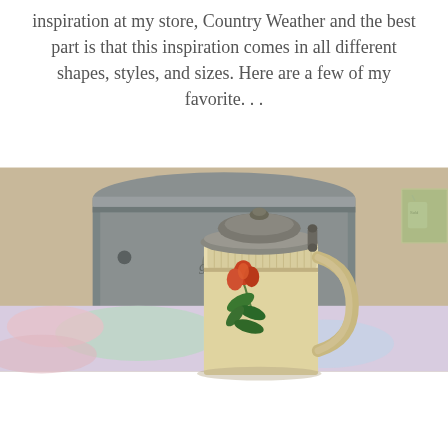inspiration at my store, Country Weather and the best part is that this inspiration comes in all different shapes, styles, and sizes. Here are a few of my favorite. . .
[Figure (photo): A ceramic beer stein with a floral (rose/tulip) design painted on its cream-colored body, with a metal lid, sitting in front of a large galvanized metal bucket, on a light-colored fabric surface.]